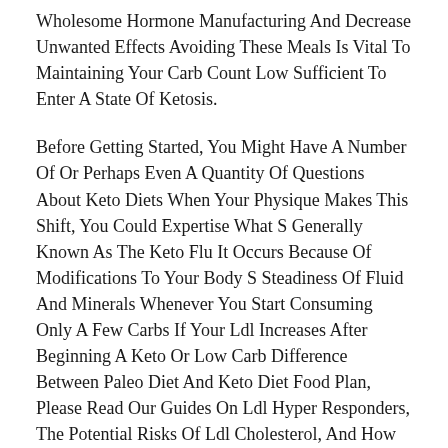Wholesome Hormone Manufacturing And Decrease Unwanted Effects Avoiding These Meals Is Vital To Maintaining Your Carb Count Low Sufficient To Enter A State Of Ketosis.
Before Getting Started, You Might Have A Number Of Or Perhaps Even A Quantity Of Questions About Keto Diets When Your Physique Makes This Shift, You Could Expertise What S Generally Known As The Keto Flu It Occurs Because Of Modifications To Your Body S Steadiness Of Fluid And Minerals Whenever You Start Consuming Only A Few Carbs If Your Ldl Increases After Beginning A Keto Or Low Carb Difference Between Paleo Diet And Keto Diet Food Plan, Please Read Our Guides On Ldl Hyper Responders, The Potential Risks Of Ldl Cholesterol, And How To Decrease Ldl Cholesterol More